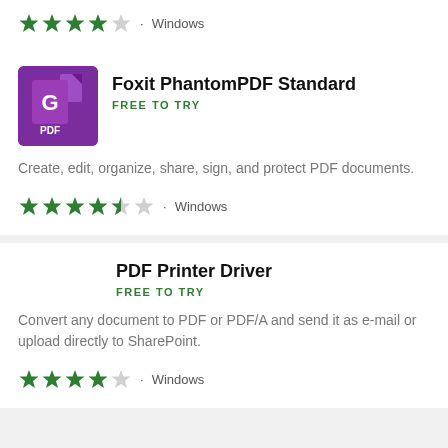★★★★☆ · Windows
Foxit PhantomPDF Standard
FREE TO TRY
Create, edit, organize, share, sign, and protect PDF documents.
★★★★½ · Windows
PDF Printer Driver
FREE TO TRY
Convert any document to PDF or PDF/A and send it as e-mail or upload directly to SharePoint.
★★★★☆ · Windows